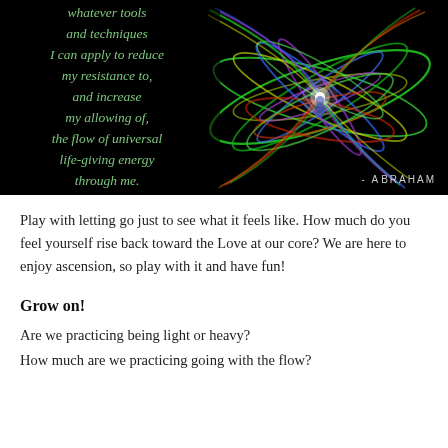[Figure (illustration): Black background image with colorful energy/chakra light swirls in rainbow colors (green, blue, purple, red, yellow) forming a toroidal/vortex shape around a central bright white point. Left side contains a green italic quote text. Bottom right has attribution '- Abraham'.]
Play with letting go just to see what it feels like. How much do you feel yourself rise back toward the Love at our core? We are here to enjoy ascension, so play with it and have fun!
Grow on!
Are we practicing being light or heavy?
How much are we practicing going with the flow?